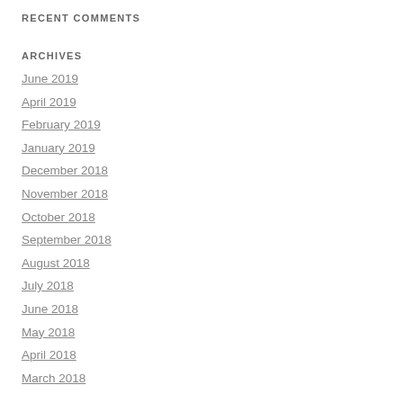RECENT COMMENTS
ARCHIVES
June 2019
April 2019
February 2019
January 2019
December 2018
November 2018
October 2018
September 2018
August 2018
July 2018
June 2018
May 2018
April 2018
March 2018